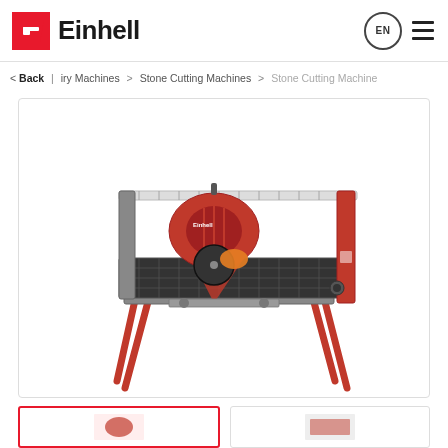Einhell | EN
< Back | iry Machines > Stone Cutting Machines > Stone Cutting Machine
[Figure (photo): Einhell stone cutting machine / tile saw with red and grey metal frame, red legs, diamond blade, water tray, and sliding guide rail on top. Product shown on white background.]